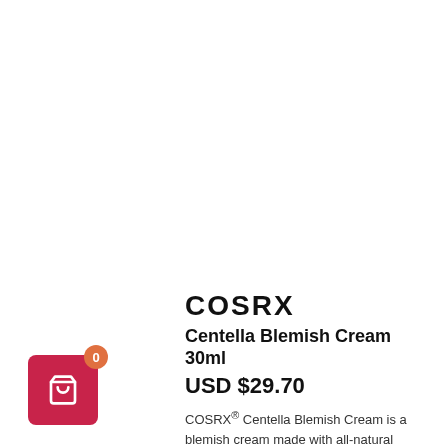[Figure (logo): COSRX brand logo text in bold black uppercase letters]
Centella Blemish Cream 30ml
USD $29.70
COSRX® Centella Blemish Cream is a blemish cream made with all-natural ingredients designed to help reduce the
[Figure (illustration): Pink/red shopping cart button with basket icon and orange badge showing 0]